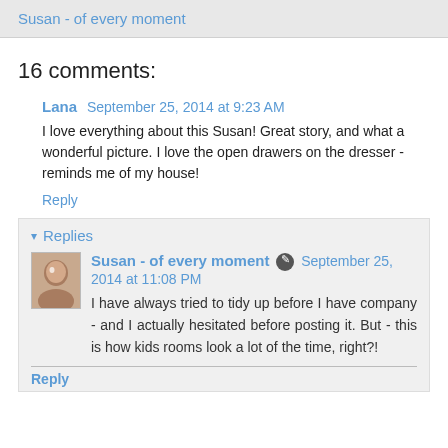Susan - of every moment
16 comments:
Lana  September 25, 2014 at 9:23 AM
I love everything about this Susan! Great story, and what a wonderful picture. I love the open drawers on the dresser - reminds me of my house!
Reply
Replies
Susan - of every moment  September 25, 2014 at 11:08 PM
I have always tried to tidy up before I have company - and I actually hesitated before posting it. But - this is how kids rooms look a lot of the time, right?!
Reply